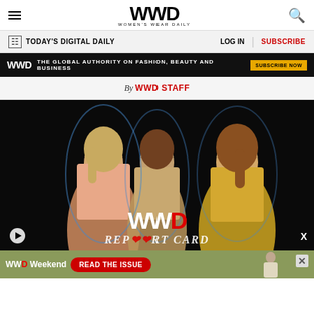WWD WOMEN'S WEAR DAILY
TODAY'S DIGITAL DAILY | LOG IN | SUBSCRIBE
WWD THE GLOBAL AUTHORITY ON FASHION, BEAUTY AND BUSINESS SUBSCRIBE NOW
By WWD STAFF
[Figure (photo): Three women in glamorous outfits on black background with WWD logo overlay and REPORT CARD text]
WWD Weekend READ THE ISSUE